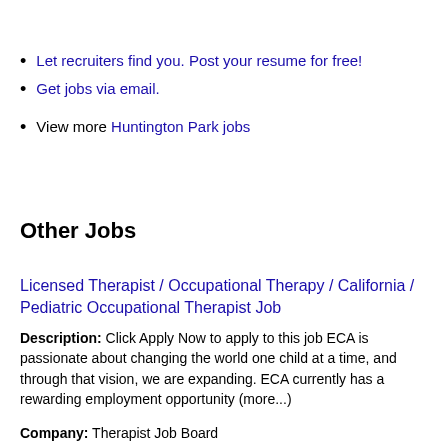Let recruiters find you. Post your resume for free!
Get jobs via email.
View more Huntington Park jobs
Other Jobs
Licensed Therapist / Occupational Therapy / California / Pediatric Occupational Therapist Job
Description: Click Apply Now to apply to this job ECA is passionate about changing the world one child at a time, and through that vision, we are expanding. ECA currently has a rewarding employment opportunity (more...)
Company: Therapist Job Board